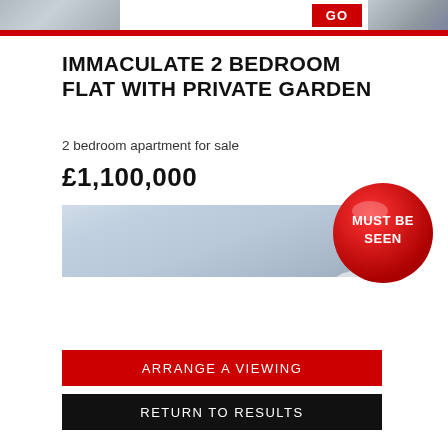GO
IMMACULATE 2 BEDROOM FLAT WITH PRIVATE GARDEN
2 bedroom apartment for sale
£1,100,000
[Figure (photo): Exterior photo of building with cloudy sky, with a red 'MUST BE SEEN' sticker overlay]
ARRANGE A VIEWING
RETURN TO RESULTS